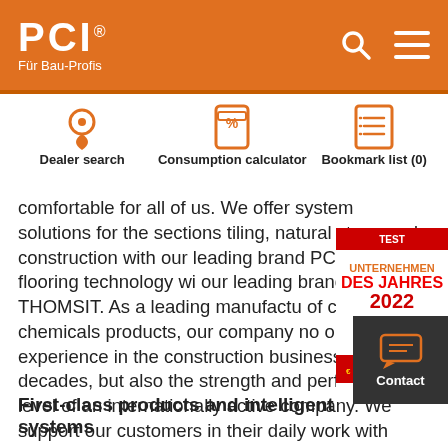[Figure (logo): PCI Für Bau-Profis logo on orange header background with search and menu icons]
[Figure (infographic): Three quick-link icons: Dealer search (location pin), Consumption calculator (percentage tag), Bookmark list (list icon)]
comfortable for all of us. We offer system solutions for the sections tiling, natural stone and construction with our leading brand PCI and for flooring technology with our leading brand THOMSIT. As a leading manufacturer of construction chemicals products, our company not only has experience in the construction business for decades, but also the strength and performance level of an internationally active company. We support our customers in their daily work with high-quality, sustainable quality products and a comprehensive range of services.
[Figure (other): Award badge: TEST - UNTERNEHMEN DES JAHRES 2022 - MONEY]
[Figure (other): Contact button with speech bubble icon on dark background]
First-class products and intelligent systems